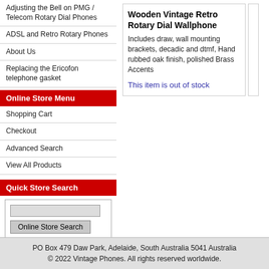Adjusting the Bell on PMG / Telecom Rotary Dial Phones
ADSL and Retro Rotary Phones
About Us
Replacing the Ericofon telephone gasket
Online Store Menu
Shopping Cart
Checkout
Advanced Search
View All Products
Quick Store Search
Online Store Search
Advanced Search
Shopping Cart
There are no items in your shopping cart.
Wooden Vintage Retro Rotary Dial Wallphone
Includes draw, wall mounting brackets, decadic and dtmf, Hand rubbed oak finish, polished Brass Accents
This item is out of stock
PO Box 479 Daw Park, Adelaide, South Australia 5041 Australia
© 2022 Vintage Phones. All rights reserved worldwide.